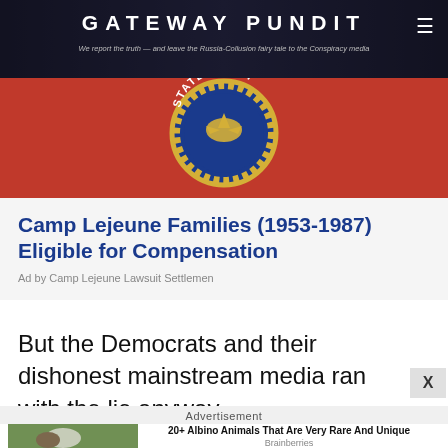GATEWAY PUNDIT — We report the truth — and leave the Russia-Collusion fairy tale to the Conspiracy media
[Figure (photo): US Marine Corps seal/emblem on red background banner]
Camp Lejeune Families (1953-1987) Eligible for Compensation
Ad by Camp Lejeune Lawsuit Settlemen
But the Democrats and their dishonest mainstream media ran with the lie anyway.
Advertisement
[Figure (photo): Photo of person with albino animal (monkey) in grass]
20+ Albino Animals That Are Very Rare And Unique
Brainberries